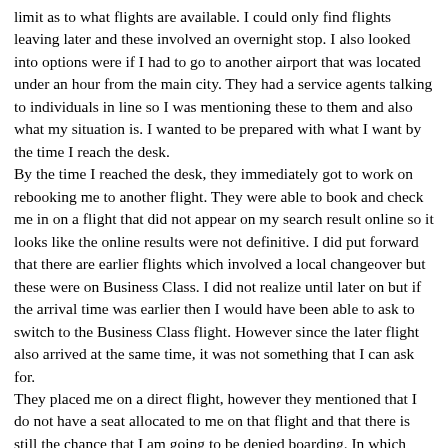limit as to what flights are available. I could only find flights leaving later and these involved an overnight stop. I also looked into options were if I had to go to another airport that was located under an hour from the main city. They had a service agents talking to individuals in line so I was mentioning these to them and also what my situation is. I wanted to be prepared with what I want by the time I reach the desk. By the time I reached the desk, they immediately got to work on rebooking me to another flight. They were able to book and check me in on a flight that did not appear on my search result online so it looks like the online results were not definitive. I did put forward that there are earlier flights which involved a local changeover but these were on Business Class. I did not realize until later on but if the arrival time was earlier then I would have been able to ask to switch to the Business Class flight. However since the later flight also arrived at the same time, it was not something that I can ask for. They placed me on a direct flight, however they mentioned that I do not have a seat allocated to me on that flight and that there is still the chance that I am going to be denied boarding. In which case I need to repeat the process again. They did try to book me to a morning flight as well, but I told that them in my situation I would have to request for a full refund since there would have been no point in flying if I can't arrive that same evening. I also initially thought that the reason why I was involuntarily bumped was because I went with a third-party ticket consolidator